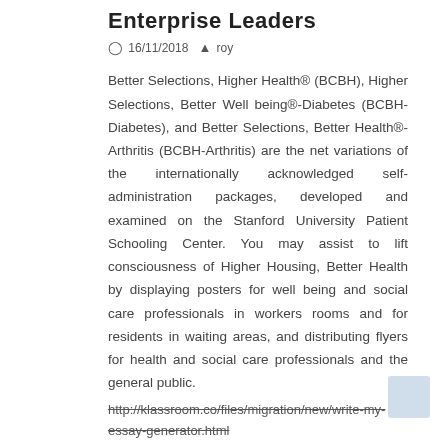Enterprise Leaders
16/11/2018  roy
Better Selections, Higher Health® (BCBH), Higher Selections, Better Well being®-Diabetes (BCBH-Diabetes), and Better Selections, Better Health®-Arthritis (BCBH-Arthritis) are the net variations of the internationally acknowledged self-administration packages, developed and examined on the Stanford University Patient Schooling Center. You may assist to lift consciousness of Higher Housing, Better Health by displaying posters for well being and social care professionals in workers rooms and for residents in waiting areas, and distributing flyers for health and social care professionals and the general public.
http://klassroom.co/files/migration/new/write-my-essay-generator.html